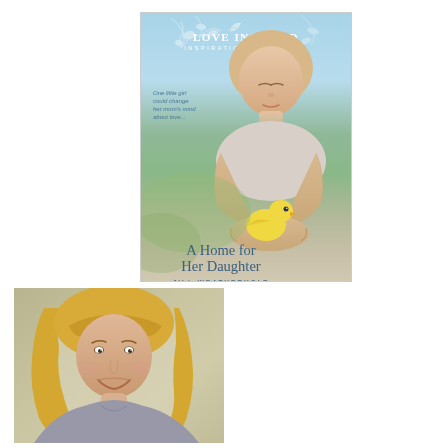[Figure (illustration): Book cover for 'A Home for Her Daughter' by Jill Weatherholt, published by Love Inspired Inspirational Romance. Cover shows a young girl with eyes closed holding a baby chick in her hands, with a sky blue and green background. Text reads 'One little girl could change her mom's mind about love...']
[Figure (photo): Author photo showing a woman with long blonde hair smiling, photographed against a light neutral background.]